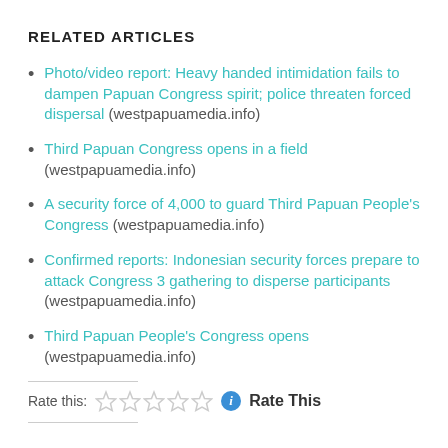RELATED ARTICLES
Photo/video report: Heavy handed intimidation fails to dampen Papuan Congress spirit; police threaten forced dispersal (westpapuamedia.info)
Third Papuan Congress opens in a field (westpapuamedia.info)
A security force of 4,000 to guard Third Papuan People's Congress (westpapuamedia.info)
Confirmed reports: Indonesian security forces prepare to attack Congress 3 gathering to disperse participants (westpapuamedia.info)
Third Papuan People's Congress opens (westpapuamedia.info)
Rate this: ☆☆☆☆☆ Rate This